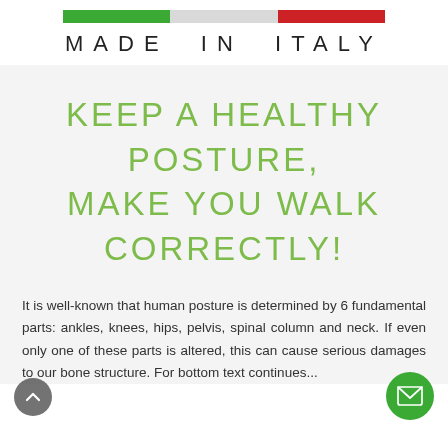[Figure (logo): Italian flag tricolor bar (green, white/grey, red) above the text 'MADE IN ITALY' in spaced uppercase letters]
KEEP A HEALTHY POSTURE, MAKE YOU WALK CORRECTLY!
It is well-known that human posture is determined by 6 fundamental parts: ankles, knees, hips, pelvis, spinal column and neck. If even only one of these parts is altered, this can cause serious damages to our bone structure. For bottom text continues...